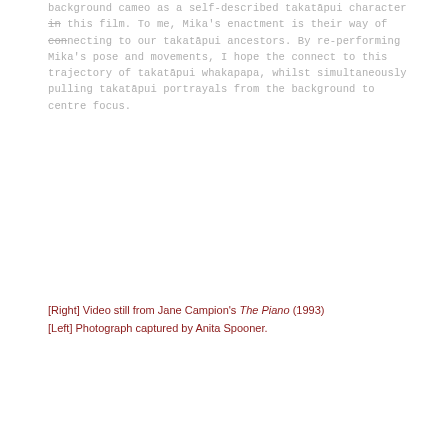background cameo as a self-described takatāpui character in this film. To me, Mika's enactment is their way of connecting to our takatāpui ancestors. By re-performing Mika's pose and movements, I hope the connect to this trajectory of takatāpui whakapapa, whilst simultaneously pulling takatāpui portrayals from the background to centre focus.
[Right] Video still from Jane Campion's The Piano (1993)
[Left] Photograph captured by Anita Spooner.